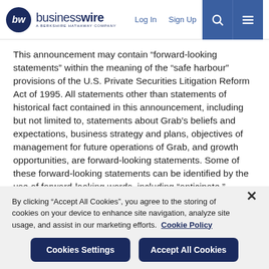businesswire - A Berkshire Hathaway Company | Log In | Sign Up
This announcement may contain “forward-looking statements” within the meaning of the “safe harbour” provisions of the U.S. Private Securities Litigation Reform Act of 1995. All statements other than statements of historical fact contained in this announcement, including but not limited to, statements about Grab’s beliefs and expectations, business strategy and plans, objectives of management for future operations of Grab, and growth opportunities, are forward-looking statements. Some of these forward-looking statements can be identified by the use of forward-looking words, including “anticipate,” “expect,” “suggest,”
By clicking “Accept All Cookies”, you agree to the storing of cookies on your device to enhance site navigation, analyze site usage, and assist in our marketing efforts.  Cookie Policy
Cookies Settings
Accept All Cookies